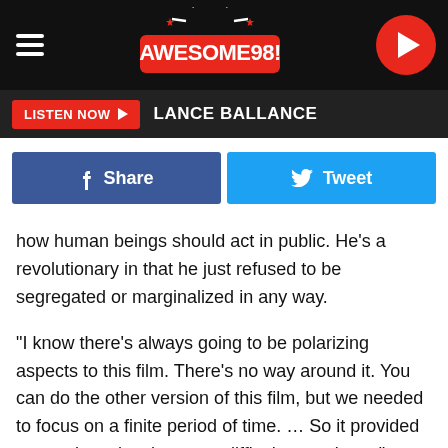[Figure (logo): Awesome 98 radio station logo with hamburger menu and play button]
LISTEN NOW  LANCE BALLANCE
[Figure (infographic): Facebook Share button and Twitter Tweet button]
how human beings should act in public. He's a revolutionary in that he just refused to be segregated or marginalized in any way.
“I know there’s always going to be polarizing aspects to this film. There’s no way around it. You can do the other version of this film, but we needed to focus on a finite period of time. … So it provided some obstacles that were difficult to navigate.”
Elsewhere in the interview, he recalled how he’d gone to